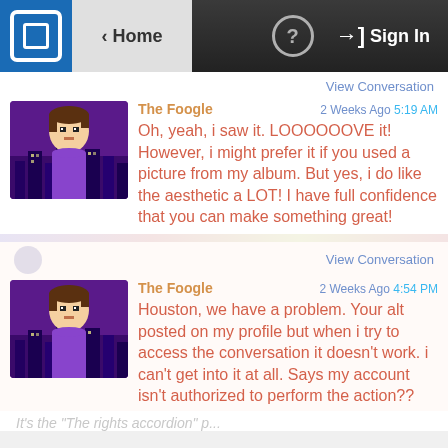Home | Sign In
View Conversation
The Foogle   2 Weeks Ago 5:19 AM
Oh, yeah, i saw it. LOOOOOOVE it! However, i might prefer it if you used a picture from my album. But yes, i do like the aesthetic a LOT! I have full confidence that you can make something great!
View Conversation
The Foogle   2 Weeks Ago 4:54 PM
Houston, we have a problem. Your alt posted on my profile but when i try to access the conversation it doesn't work. i can't get into it at all. Says my account isn't authorized to perform the action??
It's the "The rights accordion" p...